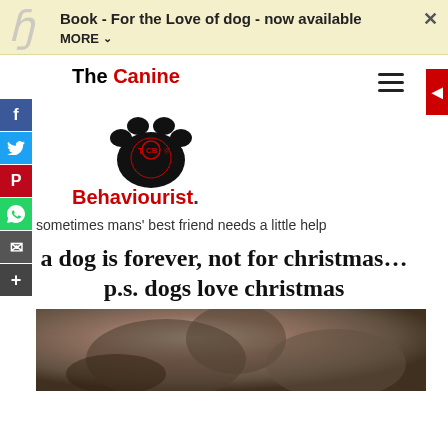Book - For the Love of dog - now available
[Figure (logo): The Canine Behaviourist logo with paw print]
sometimes mans' best friend needs a little help
a dog is forever, not for christmas… p.s. dogs love christmas
[Figure (photo): Close-up photo of a dog]